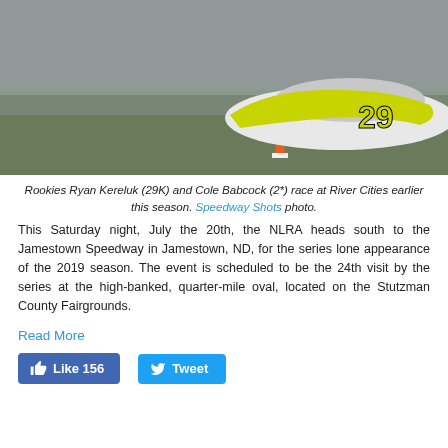[Figure (photo): Racing car number 29K (white and yellow/green) on a dirt track at River Cities Speedway. A Speedway Shots logo watermark is visible in the lower right corner. An orange traffic cone is visible in the foreground.]
Rookies Ryan Kereluk (29K) and Cole Babcock (2*) race at River Cities earlier this season. Speedway Shots photo.
This Saturday night, July the 20th, the NLRA heads south to the Jamestown Speedway in Jamestown, ND, for the series lone appearance of the 2019 season. The event is scheduled to be the 24th visit by the series at the high-banked, quarter-mile oval, located on the Stutzman County Fairgrounds.
Read More
[Figure (other): Like button showing 156 likes and a Tweet button]